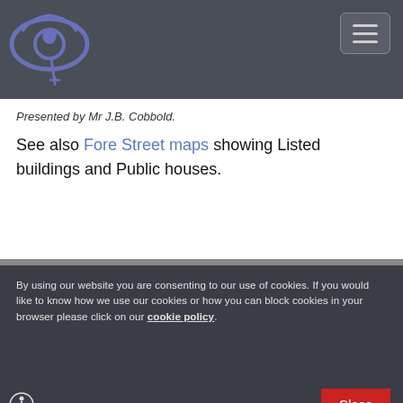[Figure (logo): Website logo with stylized eye and heraldic lion on dark gray navigation bar background]
Presented by Mr J.B. Cobbold.
See also Fore Street maps showing Listed buildings and Public houses.
By using our website you are consenting to our use of cookies. If you would like to know how we use our cookies or how you can block cookies in your browser please click on our cookie policy.